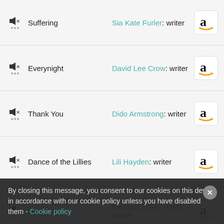Suffering — Sia Kate Furler: writer
Everynight — David Lee Crow: writer
Thank You — Dido Armstrong: writer
Dance of the Lillies — Lili Hayden: writer
Love Cry — Sequoia Cross-White: writer
Shamanic Fire — Jacqueline Attwood: writer
Humble — Robert Byron Hudson: writer
By closing this message, you consent to our cookies on this device in accordance with our cookie policy unless you have disabled them - Cookie policy